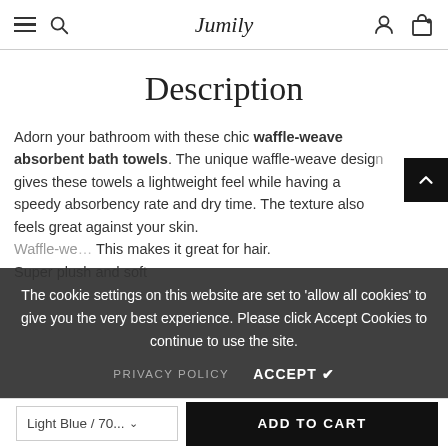Jumily
Description
Adorn your bathroom with these chic waffle-weave absorbent bath towels. The unique waffle-weave design gives these towels a lightweight feel while having a speedy absorbency rate and dry time. The texture also feels great against your skin.

Waffle-weave... This makes it great for hair.

Super plush and soft
The cookie settings on this website are set to 'allow all cookies' to give you the very best experience. Please click Accept Cookies to continue to use the site.
PRIVACY POLICY   ACCEPT ✔